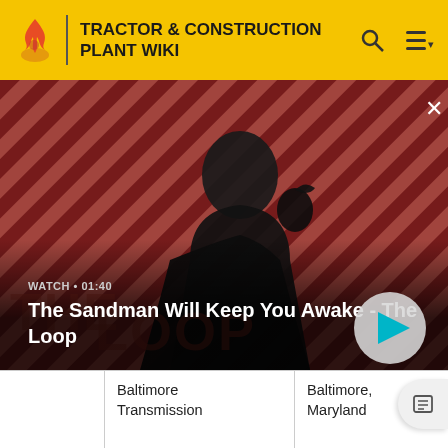TRACTOR & CONSTRUCTION PLANT WIKI
[Figure (screenshot): Video thumbnail for 'The Sandman Will Keep You Awake - The Loop' showing a dark figure with a bird on shoulder against a red diagonal striped background. Shows WATCH • 01:40 label and a play button.]
|  | Baltimore Transmission | Baltimore, Maryland | USA |